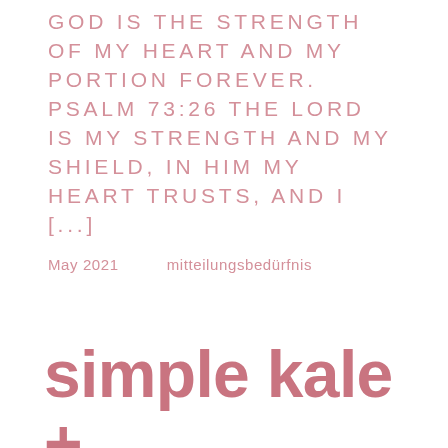GOD IS THE STRENGTH OF MY HEART AND MY PORTION FOREVER. PSALM 73:26 THE LORD IS MY STRENGTH AND MY SHIELD, IN HIM MY HEART TRUSTS, AND I [...]
May 2021    mitteilungsbedürfnis
simple kale + roasted